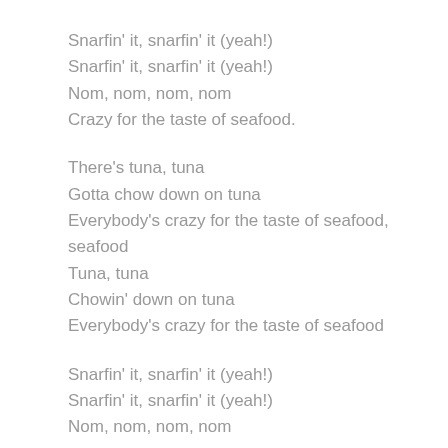Snarfin' it, snarfin' it (yeah!)
Snarfin' it, snarfin' it (yeah!)
Nom, nom, nom, nom
Crazy for the taste of seafood.
There's tuna, tuna
Gotta chow down on tuna
Everybody's crazy for the taste of seafood, seafood
Tuna, tuna
Chowin' down on tuna
Everybody's crazy for the taste of seafood
Snarfin' it, snarfin' it (yeah!)
Snarfin' it, snarfin' it (yeah!)
Nom, nom, nom, nom